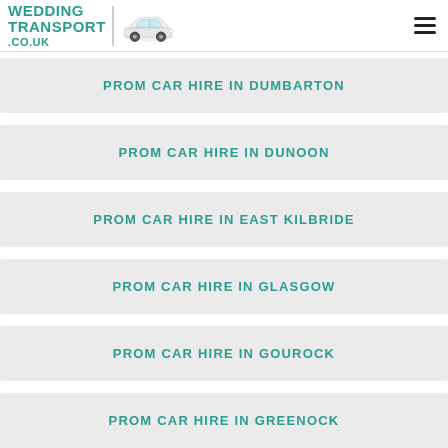WEDDING TRANSPORT .CO.UK
PROM CAR HIRE IN DUMBARTON
PROM CAR HIRE IN DUNOON
PROM CAR HIRE IN EAST KILBRIDE
PROM CAR HIRE IN GLASGOW
PROM CAR HIRE IN GOUROCK
PROM CAR HIRE IN GREENOCK
PROM CAR HIRE IN HAMILTON